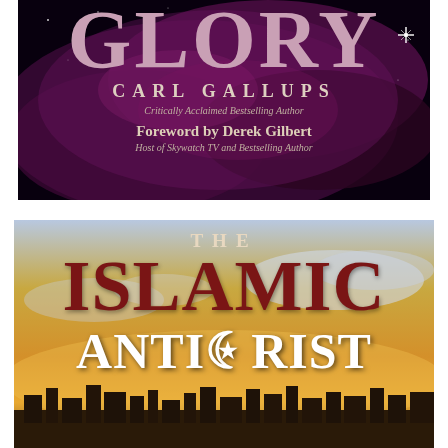[Figure (illustration): Book cover for a title containing 'GLORY' by Carl Gallups. Dark cosmic nebula background with purple/magenta clouds and stars. Text: 'GLORY', 'CARL GALLUPS', 'Critically Acclaimed Bestselling Author', 'Foreword by Derek Gilbert', 'Host of Skywatch TV and Bestselling Author'. A bright star visible in upper right.]
[Figure (illustration): Book cover for 'THE ISLAMIC ANTICHRIST'. Sunset/dusk sky background with golden and blue tones, silhouetted city skyline at bottom. Text: 'THE', 'ISLAMIC', 'ANTICHRIST' (with crescent moon star replacing the letter O in ANTICHRIST).]